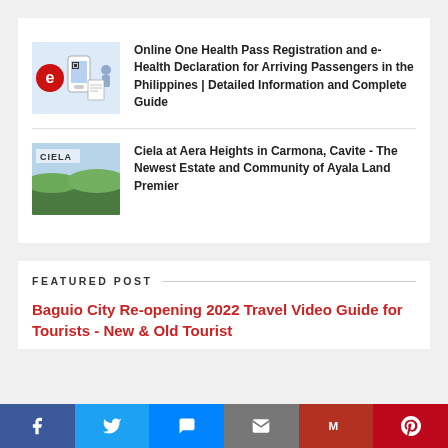[Figure (illustration): Thumbnail image for e-Health pass article showing a phone with QR code, travel documents, and a person, with a red 'e' logo]
Online One Health Pass Registration and e-Health Declaration for Arriving Passengers in the Philippines | Detailed Information and Complete Guide
[Figure (photo): Thumbnail image showing the Ciela at Aera Heights development with landscape view and the CIELA text logo]
Ciela at Aera Heights in Carmona, Cavite - The Newest Estate and Community of Ayala Land Premier
FEATURED POST
Baguio City Re-opening 2022 Travel Video Guide for Tourists - New & Old Tourist